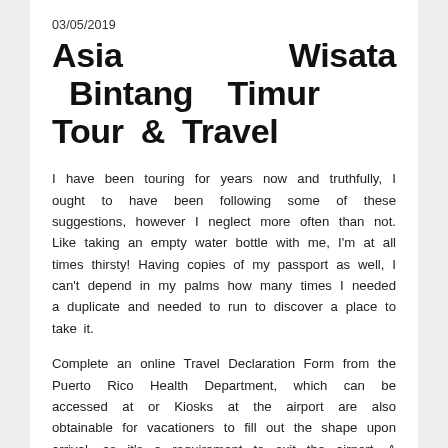03/05/2019
Asia Wisata Bintang Timur Tour & Travel
I have been touring for years now and truthfully, I ought to have been following some of these suggestions, however I neglect more often than not. Like taking an empty water bottle with me, I'm at all times thirsty! Having copies of my passport as well, I can't depend in my palms how many times I needed a duplicate and needed to run to discover a place to take it.
Complete an online Travel Declaration Form from the Puerto Rico Health Department, which can be accessed at or Kiosks at the airport are also obtainable for vacationers to fill out the shape upon arrival, as it's a requirement to exit the airport. A continuous evaluation of the state of affairs in Puerto Rico and within the United States influences Island-wide orders that prioritize the well being and security of residents and visitors. For